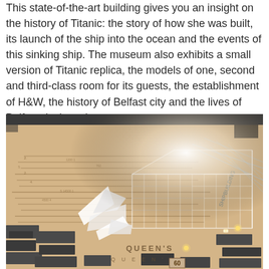This state-of-the-art building gives you an insight on the history of Titanic: the story of how she was built, its launch of the ship into the ocean and the events of this sinking ship. The museum also exhibits a small version of Titanic replica, the models of one, second and third-class room for its guests, the establishment of H&W, the history of Belfast city and the lives of Belfast dock workers.
[Figure (photo): Interior museum display showing a scale model of the Titanic shipyard/dock area with a transparent acrylic model of a ship structure in the center, white paper ship models to the left, dark building block models around a map/blueprint surface showing 'QUEEN'S' and 'SHIPBUILDING' text, with small warm lighting accents visible.]